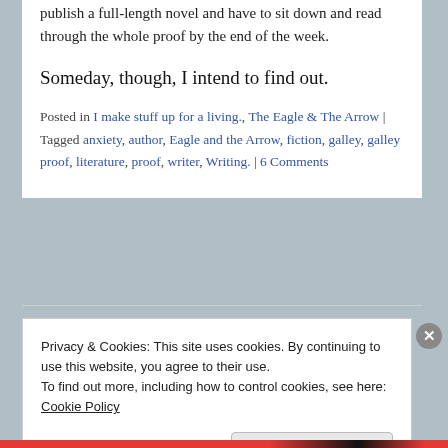publish a full-length novel and have to sit down and read through the whole proof by the end of the week.
Someday, though, I intend to find out.
Posted in I make stuff up for a living., The Eagle & The Arrow | Tagged anxiety, author, Eagle and the Arrow, fiction, galley, galley proof, literature, proof, writer, Writing. | 6 Comments
Privacy & Cookies: This site uses cookies. By continuing to use this website, you agree to their use. To find out more, including how to control cookies, see here: Cookie Policy
Close and accept